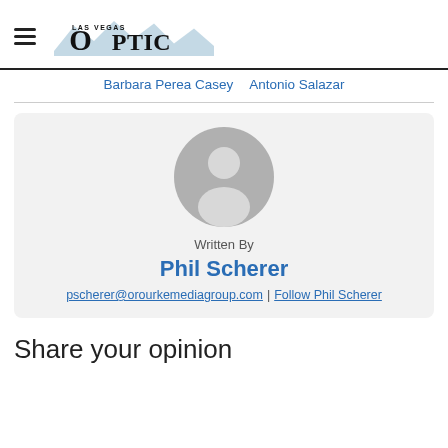Las Vegas Optic (logo)
Barbara Perea Casey  Antonio Salazar
[Figure (illustration): Default user avatar placeholder circle with generic person silhouette, grey background]
Written By
Phil Scherer
pscherer@orourkemediagroup.com | Follow Phil Scherer
Share your opinion